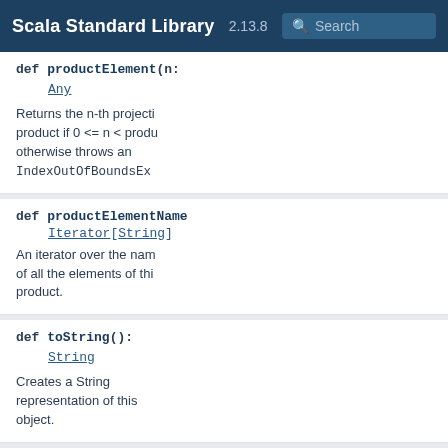Scala Standard Library 2.13.8
def productElement(n: Any
Returns the n-th projection of this product if 0 <= n < productArity, otherwise throws an IndexOutOfBoundsEx
def productElementName Iterator[String]
An iterator over the names of all the elements of this product.
def toString(): String
Creates a String representation of this object.
Scala programming documentation. Copyright (c) 2002-2021 EPFL and Lightbend.